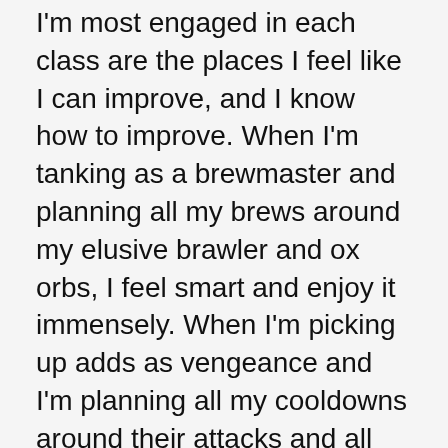I'm most engaged in each class are the places I feel like I can improve, and I know how to improve. When I'm tanking as a brewmaster and planning all my brews around my elusive brawler and ox orbs, I feel smart and enjoy it immensely. When I'm picking up adds as vengeance and I'm planning all my cooldowns around their attacks and all my add pickup abilities around how frequently I can use them, I feel smart. When I'm mobbed by casters and archers on my monk I feel frustrated and out of control, because I can't find a solution other than doing exactly what I'm already doing. When I'm getting trucked by a hard-hitting boss on my demon hunter, I am overwhelmed with managing my plethora of cooldowns that may or may not be effective here.
Recently, while running another random heroic on my demon hunter, I realized that I was feeling more confident. I was pulling bigger groups, rotating my cooldowns (even though I didn't really need them), and